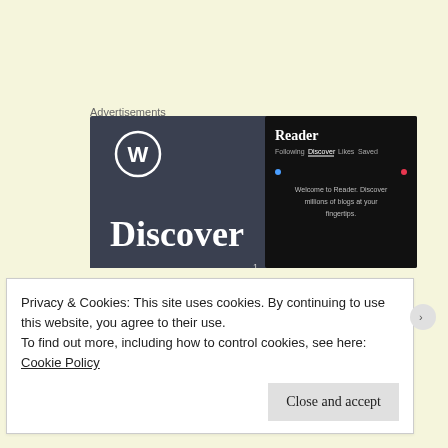Advertisements
[Figure (screenshot): WordPress Discover advertisement banner with WordPress logo, 'Discover' text on dark background, and a Reader app panel showing 'Welcome to Reader. Discover millions of blogs at your fingertips.']
Andrew Godfrey
29 JUNE, 2011 AT 6:51 AM
Privacy & Cookies: This site uses cookies. By continuing to use this website, you agree to their use.
To find out more, including how to control cookies, see here:
Cookie Policy
Close and accept